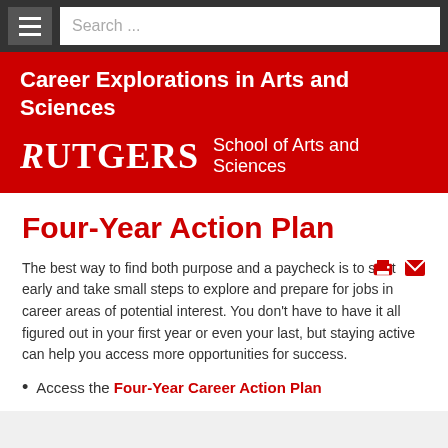Search ...
Career Explorations in Arts and Sciences
[Figure (logo): Rutgers School of Arts and Sciences logo/wordmark in white on red background]
Four-Year Action Plan
The best way to find both purpose and a paycheck is to start early and take small steps to explore and prepare for jobs in career areas of potential interest. You don't have to have it all figured out in your first year or even your last, but staying active can help you access more opportunities for success.
Access the Four-Year Career Action Plan